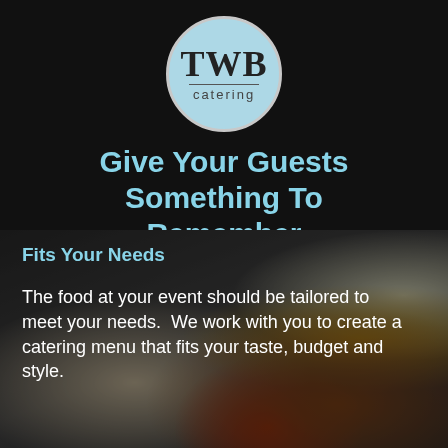[Figure (logo): TWB Catering circular logo with light blue background, bold serif TWB text, horizontal line, and 'catering' text below]
Give Your Guests Something To Remember
Fits Your Needs
The food at your event should be tailored to meet your needs.  We work with you to create a catering menu that fits your taste, budget and style.